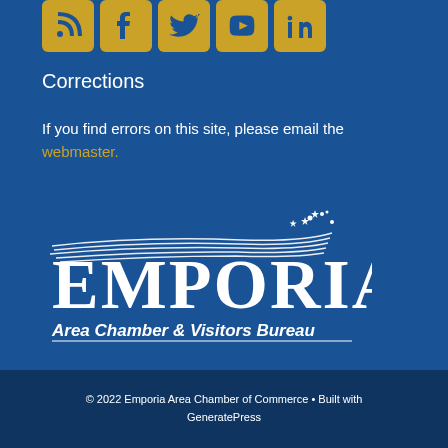[Figure (other): Row of social media icons (RSS, Facebook, Twitter, YouTube, LinkedIn) in gold/yellow square buttons on blue background]
Corrections
If you find errors on this site, please email the webmaster.
[Figure (logo): Emporia Area Chamber & Visitors Bureau logo: white text with swoosh graphic on blue background]
© 2022 Emporia Area Chamber of Commerce • Built with GeneratePress